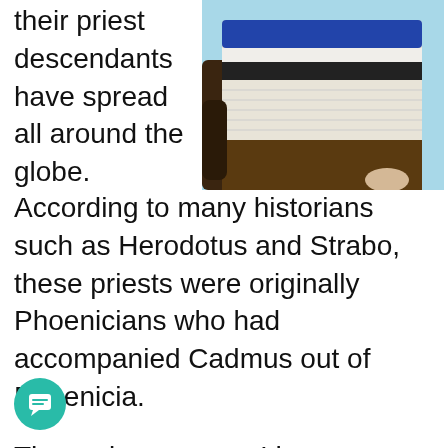their priest descendants have spread all around the globe. According to many historians such as Herodotus and Strabo, these priests were originally Phoenicians who had accompanied Cadmus out of Phoenicia.
[Figure (photo): A photo showing a figure wearing a decorated garment with blue and white horizontal striped/paneled design, set against a light blue background. The lower portion shows dark fabric and a light-colored hand or foot.]
The various names I have connected to this priesthood are numerous and I have written about them many times before in previous articles. Names which Strabo had written such as the Curetes (Kuretes), Corybantes, Dactyls, Cabiri, and Telchines which are